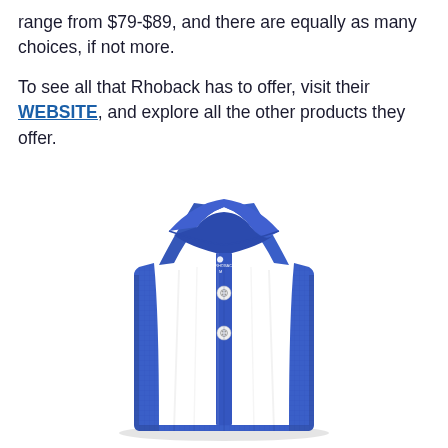range from $79-$89, and there are equally as many choices, if not more.
To see all that Rhoback has to offer, visit their WEBSITE, and explore all the other products they offer.
[Figure (photo): A folded blue polo shirt by Rhoback, displayed flat showing the collar, three white buttons, and the Rhoback dog logo embroidered on the lower left chest. The shirt has a subtle grid/check texture pattern.]